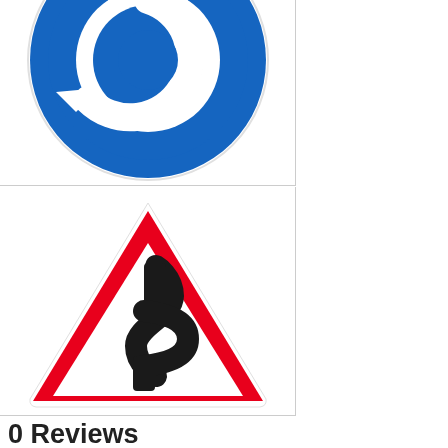[Figure (illustration): Blue circular roundabout road sign with white circular arrows indicating roundabout direction]
[Figure (illustration): Red triangular warning road sign with black winding bends ahead symbol inside]
0 Reviews
Leave a review
Is this your business?